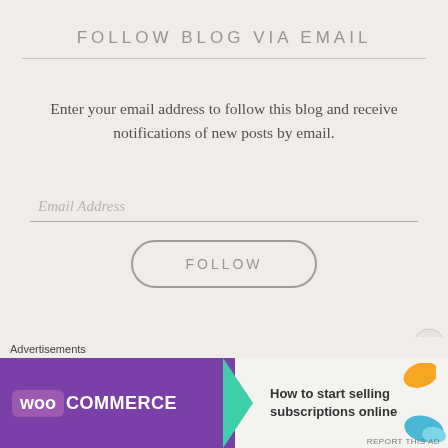FOLLOW BLOG VIA EMAIL
Enter your email address to follow this blog and receive notifications of new posts by email.
Email Address
FOLLOW
PAGES
Advertisements
[Figure (screenshot): WooCommerce advertisement banner: 'How to start selling subscriptions online']